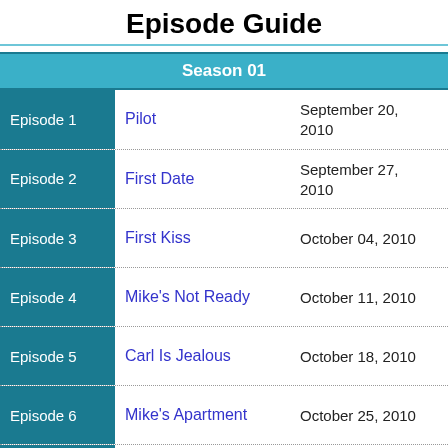Episode Guide
Season 01
| Episode | Title | Air Date |
| --- | --- | --- |
| Episode 1 | Pilot | September 20, 2010 |
| Episode 2 | First Date | September 27, 2010 |
| Episode 3 | First Kiss | October 04, 2010 |
| Episode 4 | Mike's Not Ready | October 11, 2010 |
| Episode 5 | Carl Is Jealous | October 18, 2010 |
| Episode 6 | Mike's Apartment | October 25, 2010 |